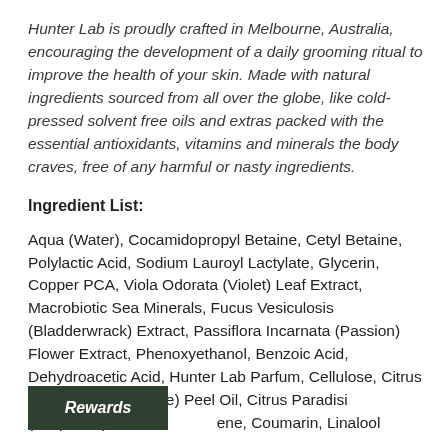Hunter Lab is proudly crafted in Melbourne, Australia, encouraging the development of a daily grooming ritual to improve the health of your skin. Made with natural ingredients sourced from all over the globe, like cold-pressed solvent free oils and extras packed with the essential antioxidants, vitamins and minerals the body craves, free of any harmful or nasty ingredients.
Ingredient List:
Aqua (Water), Cocamidopropyl Betaine, Cetyl Betaine, Polylactic Acid, Sodium Lauroyl Lactylate, Glycerin, Copper PCA, Viola Odorata (Violet) Leaf Extract, Macrobiotic Sea Minerals, Fucus Vesiculosis (Bladderwrack) Extract, Passiflora Incarnata (Passion) Flower Extract, Phenoxyethanol, Benzoic Acid, Dehydroacetic Acid, Hunter Lab Parfum, Cellulose, Citrus Reticulata (Tangerine) Peel Oil, Citrus Paradisi (Grapefruit) P...ene, Coumarin, Linalool
Rewards